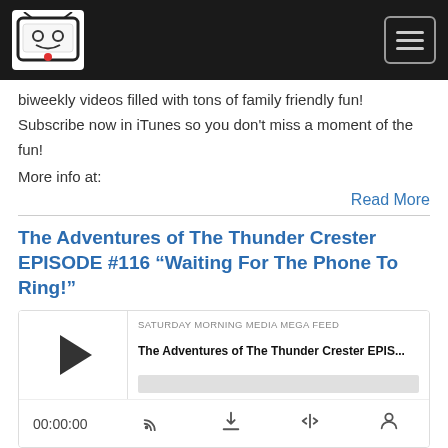[Figure (logo): Saturday Morning Media logo in nav bar]
biweekly videos filled with tons of family friendly fun! Subscribe now in iTunes so you don't miss a moment of the fun!
More info at:
Read More
The Adventures of The Thunder Crester EPISODE #116 “Waiting For The Phone To Ring!”
[Figure (screenshot): Podcast player widget showing SATURDAY MORNING MEDIA MEGA FEED, episode title The Adventures of The Thunder Crester EPIS..., play button, progress bar, time 00:00:00, and playback control icons]